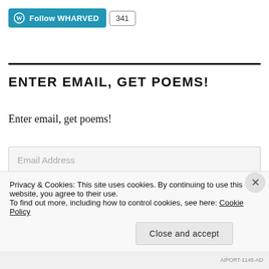[Figure (other): WordPress Follow button for WHARVED with follower count 341]
ENTER EMAIL, GET POEMS!
Enter email, get poems!
Email Address
GET THAT PARKOUR
Privacy & Cookies: This site uses cookies. By continuing to use this website, you agree to their use.
To find out more, including how to control cookies, see here: Cookie Policy
Close and accept